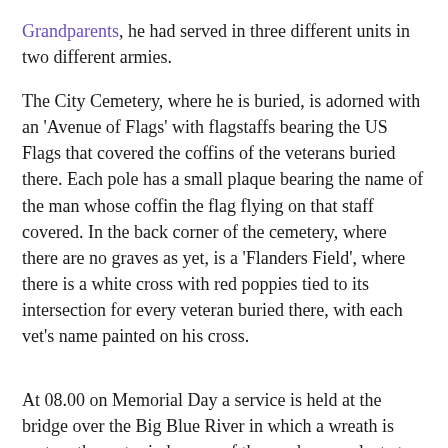Grandparents, he had served in three different units in two different armies.
The City Cemetery, where he is buried, is adorned with an 'Avenue of Flags' with flagstaffs bearing the US Flags that covered the coffins of the veterans buried there. Each pole has a small plaque bearing the name of the man whose coffin the flag flying on that staff covered. In the back corner of the cemetery, where there are no graves as yet, is a 'Flanders Field', where there is a white cross with red poppies tied to its intersection for every veteran buried there, with each vet's name painted on his cross.
At 08.00 on Memorial Day a service is held at the bridge over the Big Blue River in which a wreath is cast on the water in honour of those who were lost at sea during the wars. At 09.00 a Requiem Mass is celebrated at St Gregory's Parish Cemetery. Then at 10.00, the main